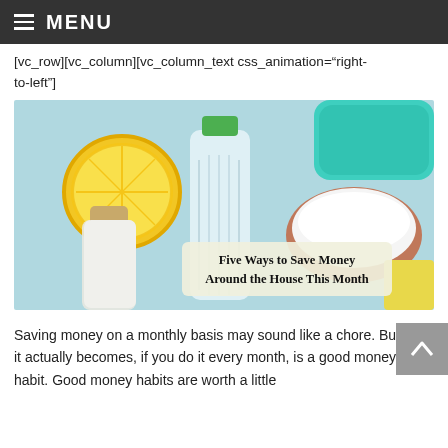MENU
[vc_row][vc_column][vc_column_text css_animation="right-to-left"]
[Figure (photo): Flat lay of natural cleaning supplies on a light blue background: a halved lemon, a glass bottle with cork stopper, a clear bottle of vinegar with green cap, a bowl of baking soda, a teal scrubbing sponge, and a yellow cloth. Overlay text reads: Five Ways to Save Money Around the House This Month.]
Saving money on a monthly basis may sound like a chore. But what it actually becomes, if you do it every month, is a good money habit. Good money habits are worth a little